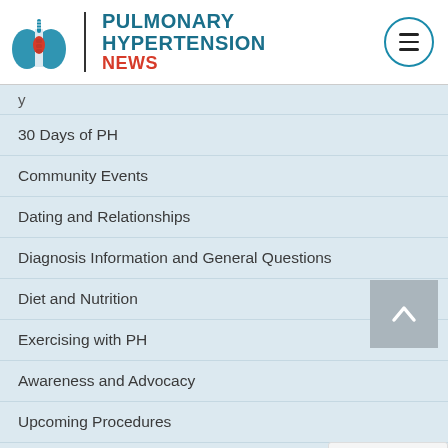[Figure (logo): Pulmonary Hypertension News logo with lungs icon, site title in blue and red]
30 Days of PH
Community Events
Dating and Relationships
Diagnosis Information and General Questions
Diet and Nutrition
Exercising with PH
Awareness and Advocacy
Upcoming Procedures
Using our Forums